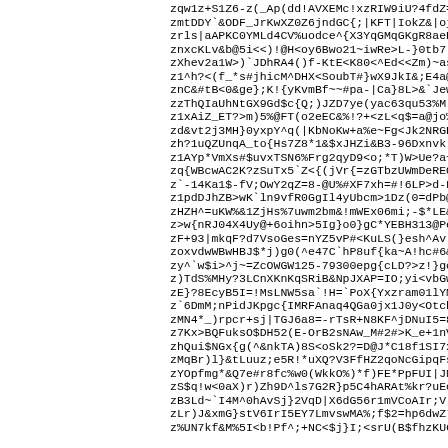zqw1z+S1Z6-z(_Ap(dd!AVXEMc!xzRIW9iU?4fdZ=B=E&DsoQL0
zmtDDY`&ODF_JrKwXZ0Z6jndGC{;|KFT|IokZ&|ojZq+bFT1MsC
zrls|aAPKC0YMLd4CV%uodce^{X3YqGMqGKgR8aeBqoptNMrLY&
znxcKLv&b@5i<<)!@H<oy6Bwo21~iwRe>L-}0tb7`bJ^?!3VI%J
zXhev2a1W>)`JDhRA4()f-KtE<K80<^Ed<<Zm)~aszyHVif1rQv
z1^h?<(f_*s#jhicM^DHX<SoubT#}wX9JkI&;E4a@*K^xubdMse
znC&#tB<0&ge};K!{yKvmBf~~#pa-|Ca}8L>&`JewW0NS1&=aEH
zzThQIaUhNtGX9Gd$c{Q;)JZD7ye(yac63qu53%M`{;>kXdL!k4
z1xAiZ_ET?>m)5%@FT(o2eEC&%!?+<zL<q$=a@jo%`GDv!#|*TI
zd&vt2j3MH}0yxpY^q(|KbNoKw+a%e~Fg<Jk2NRGR9LQ#N*a)Gu
zh?1uQZUnqA_to{Hs7Z8*1&$xJHZi&B3-96Dxnvk!$_0w4HK3wo
z1AYp*VmXs#$uvxTSN6%Frg2qyD9<o;*T)W>Ue?a~+r%<%b;ras
zq{WBcwAC2K?zSuTx5`Z<{(jVr{=zGTbzUWmDeREOUkNuUaPPgz
z`-14Ka1$-fV;OwY2qZ=8-@U%#XF7xh=#!6LP>d-FBK&0kPd??@
z1pdDJhZB>wK`ln9vfR0GgIl4yUbcm>1Dz(0=dPb@<mwF*-HtNw
zHZH^=uKW%&1ZjHs%7uwm2bm&!mWEx06mi;-$*LE&U!8f6HY!;h
z>w{nRJ04X4Uy@+6oihn>5Ig}o0}gC*YEBH313@PeQE&yOHI)*$
zF+93|mkqF?d7VsoGes=nYZ5vP#<KuLS(}esh^Av`mjpd;P|rWx
zoxvdwWBwHBJ$*j)g0(^e47C`hP8uf{ka~A!hc#6&j2T(e;bkin
zy^`w$i>^j~=ZcOWGW125-79300epg{cLD?>z!}gck{C(KtI8!Y
z)TdS%MHy?3LCnXKnKqSRiB&NpJXAP=IO;yi<vbGw_2?M^Vk3Ci
zE}?8EcyB5I=!MsLNW5sa`!H=`PoX{Yxzram01lYMvm+E$_?2D|
z`6DmM;nPidJKpgc{IMRFAnaq4QGa0jx1J0y<OtchBmqJ?;>!^b
zMN4*_)rpcr+sj|TGJ6a8=-rTsR+N8KF^jDNuI5=81Cf>~Tvi7L
z7Kx>BQFuksO$DH52(E-OrB2sNAw_M#2#>K_e+1nV44oaGwaTuP
zhQui$NGx{g(^&nkTA)8S<oSk2?=D@J*C18f1SI7x0nZ?Qc?mHO
zMqBr)l}&tLuuz;e5R!*uXQ?V3FfHZ2qoNcGipqFsTI7PLCKOeZ
zYOpfmg*&Q7e#r8fc%w0(WkkO%)*f)FE*PpFUI|JN*T9pz&-O;W
zS$q!w<0aX)r)Zh9D^ls7G2R}p5C4hARAt%kr?uEohm1SWiA3!c
zB3Ld~`I4M^0hAvSj}2VqD|X6dG56r1mVCoAIr;V!fo+l2r?=#I
zLr)J&xmG}stV6IrI5EY7LmvswMA%;f$2=hp6dwZ*TS+Ls8j`Cs
z%UN7kf&M%5I<b!Pf^;+NC<$j}I;<srU(B$fhzKU6VR7$=>V|cA